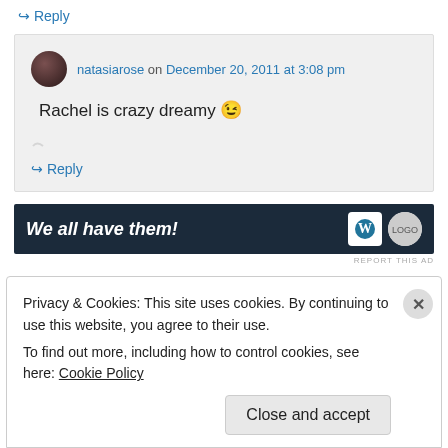↪ Reply
natasiarose on December 20, 2011 at 3:08 pm
Rachel is crazy dreamy 😉
↪ Reply
[Figure (screenshot): Dark navy advertisement banner with text 'We all have them!' in bold italic white text, and WordPress W logo and another circular logo on the right]
REPORT THIS AD
Privacy & Cookies: This site uses cookies. By continuing to use this website, you agree to their use.
To find out more, including how to control cookies, see here: Cookie Policy
Close and accept